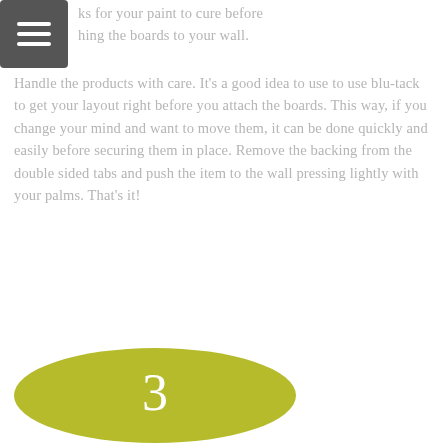ks for your paint to cure before hing the boards to your wall. Handle the products with care. It's a good idea to use to use blu-tack to get your layout right before you attach the boards. This way, if you change your mind and want to move them, it can be done quickly and easily before securing them in place. Remove the backing from the double sided tabs and push the item to the wall pressing lightly with your palms. That's it!
[Figure (illustration): Olive/yellow-green oval shape containing the number 3 in white]
Will they fix to any kind of wall?
No, it depends on the texture. We recommend smooth surfaces. If your wall is rough, bumpy or newly painted, the products may not adhere properly. Little Dinosaur is not responsible if items applied to a bumpy texture do not stick.